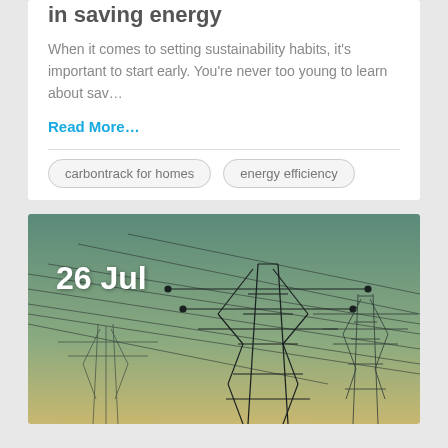in saving energy
When it comes to setting sustainability habits, it's important to start early. You're never too young to learn about sav…
Read More...
carbontrack for homes
energy efficiency
[Figure (photo): Power transmission towers / electricity pylons against a teal-green sky gradient background, with date overlay '26 Jul']